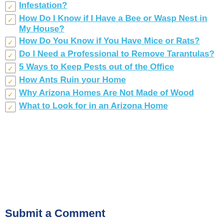Infestation?
How Do I Know if I Have a Bee or Wasp Nest in My House?
How Do You Know if You Have Mice or Rats?
Do I Need a Professional to Remove Tarantulas?
5 Ways to Keep Pests out of the Office
How Ants Ruin your Home
Why Arizona Homes Are Not Made of Wood
What to Look for in an Arizona Home
Submit a Comment